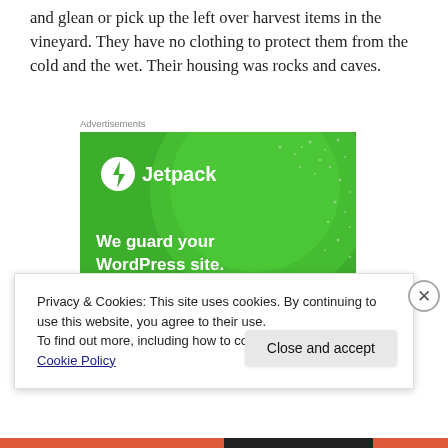and glean or pick up the left over harvest items in the vineyard. They have no clothing to protect them from the cold and the wet. Their housing was rocks and caves.
Advertisements
[Figure (illustration): Green Jetpack advertisement banner with white circle logo containing a lightning bolt, text 'Jetpack' and 'We guard your WordPress site.' on green background with subtle circular gradient and dot pattern.]
Privacy & Cookies: This site uses cookies. By continuing to use this website, you agree to their use.
To find out more, including how to control cookies, see here: Cookie Policy
Close and accept